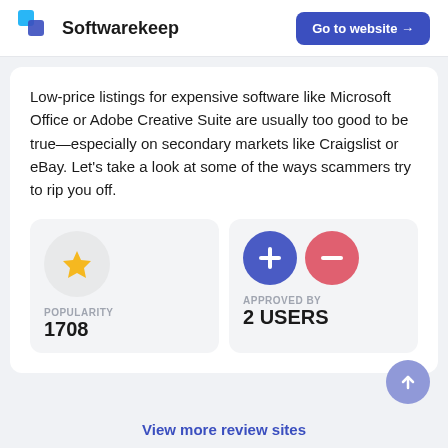Softwarekeep  Go to website →
Low-price listings for expensive software like Microsoft Office or Adobe Creative Suite are usually too good to be true—especially on secondary markets like Craigslist or eBay. Let's take a look at some of the ways scammers try to rip you off.
[Figure (infographic): Two stat boxes: left shows a gold star icon with POPULARITY label and value 1708; right shows blue plus and pink minus circle buttons with APPROVED BY label and value 2 USERS]
View more review sites